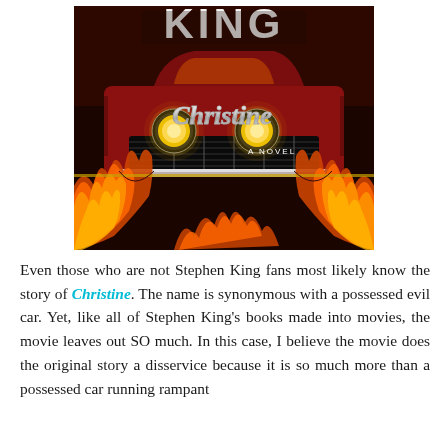[Figure (illustration): Book cover of 'Christine' by Stephen King. Shows a red vintage car (1958 Plymouth Fury) with glowing yellow headlights, surrounded by flames. The author's name 'KING' appears at the top in large letters, and 'Christine' is written in a chrome script logo across the front grille. Below the car name it reads 'A NOVEL'.]
Even those who are not Stephen King fans most likely know the story of Christine. The name is synonymous with a possessed evil car. Yet, like all of Stephen King's books made into movies, the movie leaves out SO much. In this case, I believe the movie does the original story a disservice because it is so much more than a possessed car running rampant